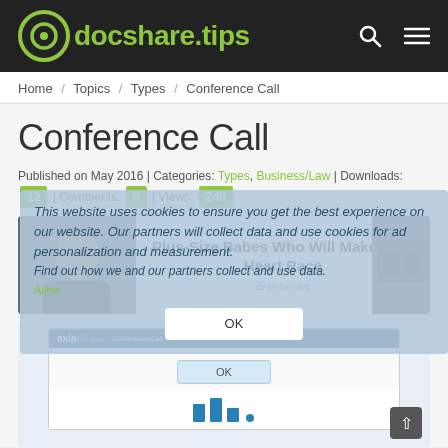docshare.tips
Home / Topics / Types / Conference Call
Conference Call
Published on May 2016 | Categories: Types, Business/Law | Downloads: 12 | Comments: 0 | Views: 245
[Figure (screenshot): Cookie consent overlay with text about website cookies and an OK button]
[Figure (screenshot): Advertisement showing Plus-Size Babes Who Will Make Your Heart Race from Brainberries, with portrait photo on left and room image on right]
[Figure (screenshot): Document preview showing axiatel.com Conference Call page with OK dialog button and blue bar chart at bottom]